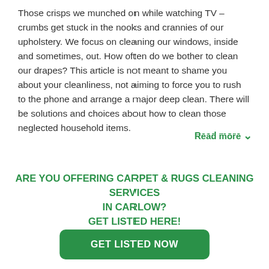Those crisps we munched on while watching TV – crumbs get stuck in the nooks and crannies of our upholstery. We focus on cleaning our windows, inside and sometimes, out. How often do we bother to clean our drapes? This article is not meant to shame you about your cleanliness, not aiming to force you to rush to the phone and arrange a major deep clean. There will be solutions and choices about how to clean those neglected household items.
Read more ∨
ARE YOU OFFERING CARPET & RUGS CLEANING SERVICES IN CARLOW? GET LISTED HERE!
GET LISTED NOW